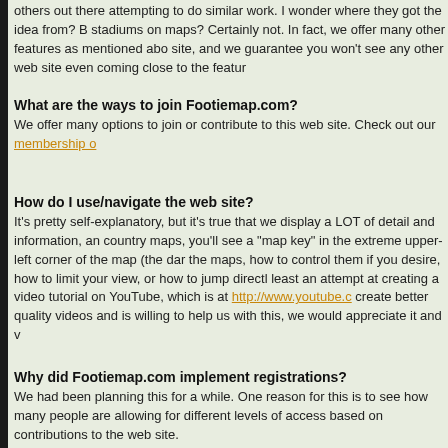others out there attempting to do similar work. I wonder where they got the idea from? Bl stadiums on maps? Certainly not. In fact, we offer many other features as mentioned abo site, and we guarantee you won't see any other web site even coming close to the featur
What are the ways to join Footiemap.com?
We offer many options to join or contribute to this web site. Check out our membership o
How do I use/navigate the web site?
It's pretty self-explanatory, but it's true that we display a LOT of detail and information, an country maps, you'll see a "map key" in the extreme upper-left corner of the map (the dar the maps, how to control them if you desire, how to limit your view, or how to jump directl least an attempt at creating a video tutorial on YouTube, which is at http://www.youtube.c create better quality videos and is willing to help us with this, we would appreciate it and
Why did Footiemap.com implement registrations?
We had been planning this for a while. One reason for this is to see how many people are allowing for different levels of access based on contributions to the web site.
We decided to eventually charge for access. We made this decision in order to cover our *anyone* to freely access our web site, albeit with a limited view for non-members.
Recently we changed our membership scheme to move away from trial memberships an rather it was a deliberate decision by us to give members better access and more choice-
Now that Footiemap.com has registrations, do visitors have to be a member of the
No. However, if you visit the web site either as a member who isn't logged in or as a non-